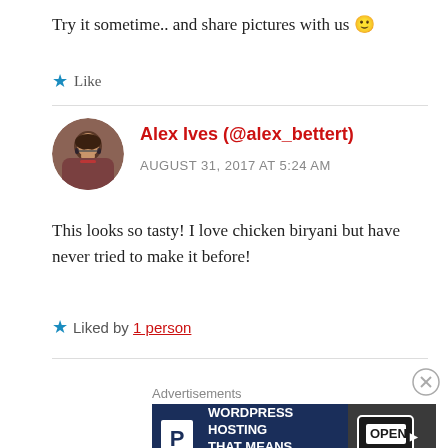Try it sometime.. and share pictures with us 🙂
★ Like
Alex Ives (@alex_bettert)
AUGUST 31, 2017 AT 5:24 AM
[Figure (photo): Profile photo of Alex Ives, a woman with glasses and dark hair]
This looks so tasty! I love chicken biryani but have never tried to make it before!
★ Liked by 1 person
Advertisements
[Figure (screenshot): WordPress Hosting advertisement banner with 'WORDPRESS HOSTING THAT MEANS BUSINESS.' text and an OPEN sign image]